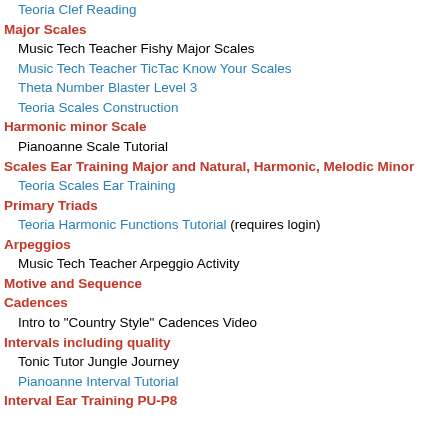Teoria Clef Reading
Major Scales
Music Tech Teacher Fishy Major Scales
Music Tech Teacher TicTac Know Your Scales
Theta Number Blaster Level 3
Teoria Scales Construction
Harmonic minor Scale
Pianoanne Scale Tutorial
Scales Ear Training Major and Natural, Harmonic, Melodic Minor
Teoria Scales Ear Training
Primary Triads
Teoria Harmonic Functions Tutorial (requires login)
Arpeggios
Music Tech Teacher Arpeggio Activity
Motive and Sequence
Cadences
Intro to "Country Style" Cadences Video
Intervals including quality
Tonic Tutor Jungle Journey
Pianoanne Interval Tutorial
Interval Ear Training PU-P8